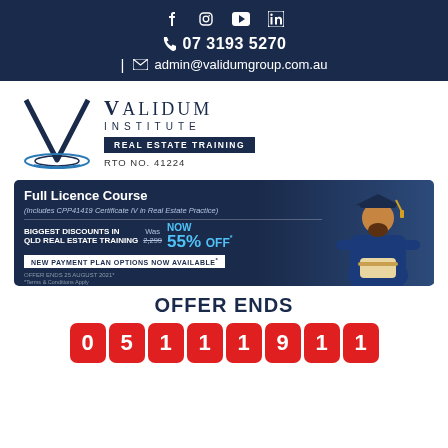Social media icons: Facebook, Instagram, YouTube, LinkedIn
07 3193 5270
admin@validumgroup.com.au
[Figure (logo): Validum Institute Real Estate Training logo with stylized V mark, RTO No. 41224]
[Figure (infographic): Full Licence Course banner - Includes CPP41419 Certificate IV in Real Estate Practice. BIGGEST DISCOUNTS IN QLD REAL ESTATE TRAINING, WAS 2,299, NOW 55% OFF. NEW PAYMENT PLAN OPTIONS NOW AVAILABLE. OFFER ENDS 25 AUGUST 2021. Graduate figure on right side.]
OFFER ENDS
0 5 1 1 1 9 1 1